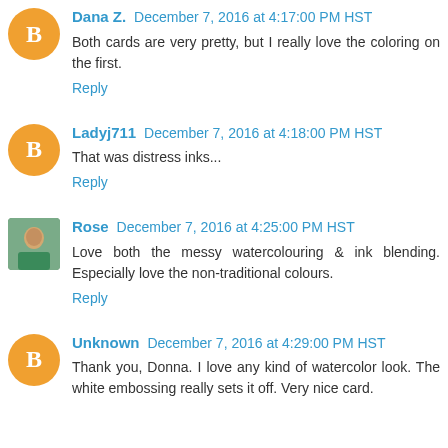Dana Z. December 7, 2016 at 4:17:00 PM HST
Both cards are very pretty, but I really love the coloring on the first.
Reply
Ladyj711 December 7, 2016 at 4:18:00 PM HST
That was distress inks...
Reply
Rose December 7, 2016 at 4:25:00 PM HST
Love both the messy watercolouring & ink blending. Especially love the non-traditional colours.
Reply
Unknown December 7, 2016 at 4:29:00 PM HST
Thank you, Donna. I love any kind of watercolor look. The white embossing really sets it off. Very nice card.